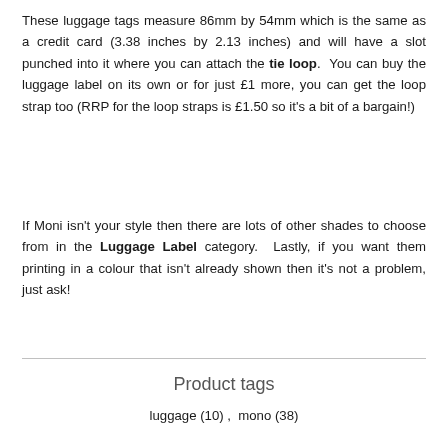These luggage tags measure 86mm by 54mm which is the same as a credit card (3.38 inches by 2.13 inches) and will have a slot punched into it where you can attach the tie loop. You can buy the luggage label on its own or for just £1 more, you can get the loop strap too (RRP for the loop straps is £1.50 so it's a bit of a bargain!)
If Moni isn't your style then there are lots of other shades to choose from in the Luggage Label category. Lastly, if you want them printing in a colour that isn't already shown then it's not a problem, just ask!
Product tags
luggage (10) ,  mono (38)